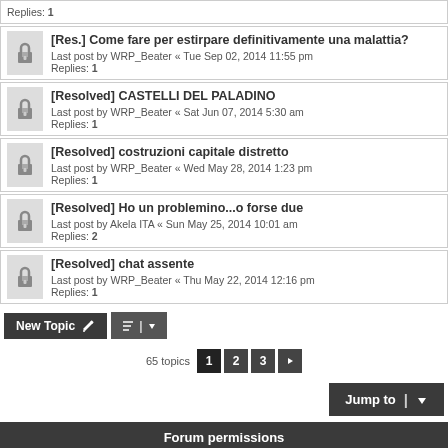Replies: 1
[Res.] Come fare per estirpare definitivamente una malattia?
Last post by WRP_Beater « Tue Sep 02, 2014 11:55 pm
Replies: 1
[Resolved] CASTELLI DEL PALADINO
Last post by WRP_Beater « Sat Jun 07, 2014 5:30 am
Replies: 1
[Resolved] costruzioni capitale distretto
Last post by WRP_Beater « Wed May 28, 2014 1:23 pm
Replies: 1
[Resolved] Ho un problemino...o forse due
Last post by Akela ITA « Sun May 25, 2014 10:01 am
Replies: 2
[Resolved] chat assente
Last post by WRP_Beater « Thu May 22, 2014 12:16 pm
Replies: 1
New Topic | sort | 65 topics | 1 | 2 | 3 | next
Jump to
Forum permissions
You cannot post new topics in this forum
You cannot reply to topics in this forum
You cannot edit your posts in this forum